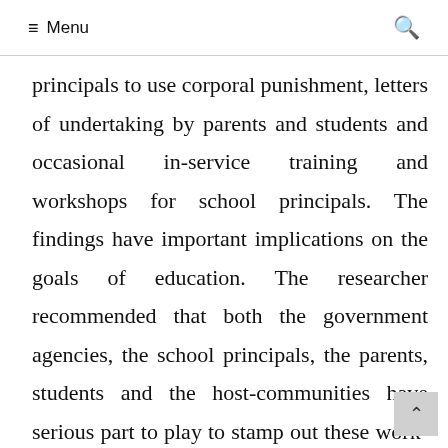≡ Menu
principals to use corporal punishment, letters of undertaking by parents and students and occasional in-service training and workshops for school principals. The findings have important implications on the goals of education. The researcher recommended that both the government agencies, the school principals, the parents, students and the host-communities have serious part to play to stamp out these work-related hazards encountered by school principals.